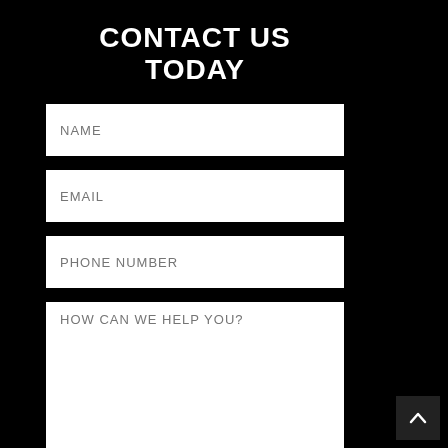CONTACT US TODAY
NAME
EMAIL
PHONE NUMBER
HOW CAN WE HELP YOU?
SUBMIT